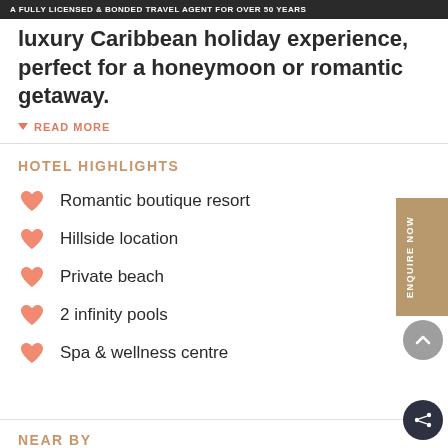A FULLY LICENSED & BONDED TRAVEL AGENT FOR OVER 50 YEARS
luxury Caribbean holiday experience, perfect for a honeymoon or romantic getaway.
READ MORE
HOTEL HIGHLIGHTS
Romantic boutique resort
Hillside location
Private beach
2 infinity pools
Spa & wellness centre
NEAR BY